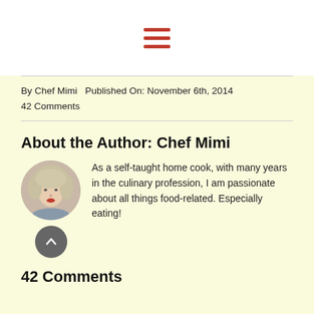[Figure (other): Hamburger menu icon with three horizontal red bars]
By Chef Mimi  Published On: November 6th, 2014
42 Comments
About the Author: Chef Mimi
[Figure (photo): Circular profile photo of Chef Mimi, a woman with short gray-blonde hair and red lipstick]
As a self-taught home cook, with many years in the culinary profession, I am passionate about all things food-related. Especially eating!
42 Comments